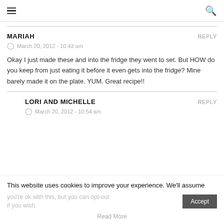≡ [menu icon]   🔍 [search icon]
MARIAH   REPLY
⏱ March 20, 2012 - 10:43 am
Okay I just made these and into the fridge they went to set. But HOW do you keep from just eating it before it even gets into the fridge? Mine barely made it on the plate. YUM. Great recipe!!
LORI AND MICHELLE   REPLY
⏱ March 20, 2012 - 10:54 am
This website uses cookies to improve your experience. We'll assume you're ok with this, but you can opt-out if you wish.
Accept
Read More